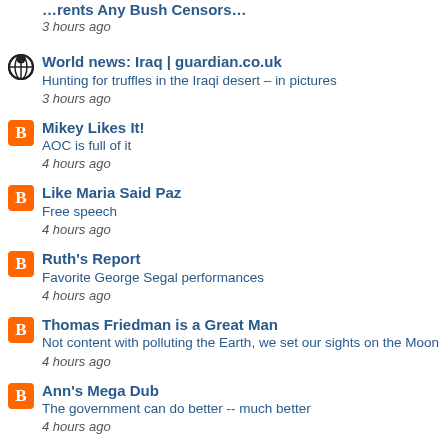3 hours ago
World news: Iraq | guardian.co.uk
Hunting for truffles in the Iraqi desert – in pictures
3 hours ago
Mikey Likes It!
AOC is full of it
4 hours ago
Like Maria Said Paz
Free speech
4 hours ago
Ruth's Report
Favorite George Segal performances
4 hours ago
Thomas Friedman is a Great Man
Not content with polluting the Earth, we set our sights on the Moon
4 hours ago
Ann's Mega Dub
The government can do better -- much better
4 hours ago